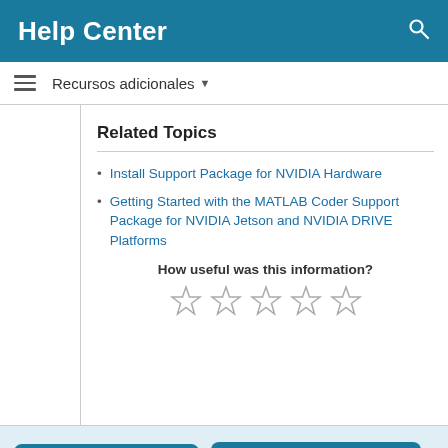Help Center
Recursos adicionales
Related Topics
Install Support Package for NVIDIA Hardware
Getting Started with the MATLAB Coder Support Package for NVIDIA Jetson and NVIDIA DRIVE Platforms
How useful was this information?
[Figure (other): Five empty star rating icons]
Trials
Actualizaciones de productos